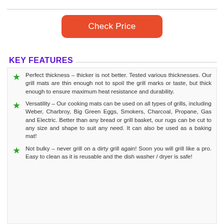[Figure (other): Orange/red rounded rectangle button with white text 'Check Price']
KEY FEATURES
Perfect thickness – thicker is not better. Tested various thicknesses. Our grill mats are thin enough not to spoil the grill marks or taste, but thick enough to ensure maximum heat resistance and durability.
Versatility – Our cooking mats can be used on all types of grills, including Weber, Charbroy, Big Green Eggs, Smokers, Charcoal, Propane, Gas and Electric. Better than any bread or grill basket, our rugs can be cut to any size and shape to suit any need. It can also be used as a baking mat!
Not bulky – never grill on a dirty grill again! Soon you will grill like a pro. Easy to clean as it is reusable and the dish washer / dryer is safe!